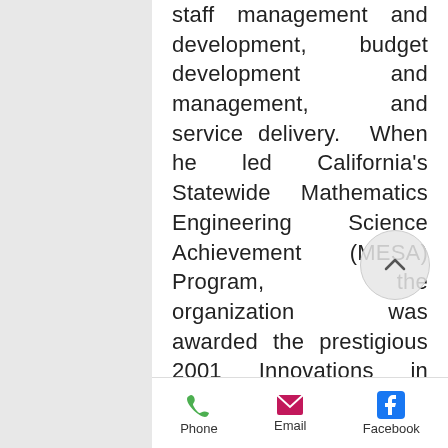staff management and development, budget development and management, and service delivery.  When he led California's Statewide Mathematics Engineering Science Achievement (MESA) Program, the organization was awarded the prestigious 2001 Innovations in American Government award from the Harvard Kennedy School's Ash Center for Democratic Governance and Innovation.

Michael graduated from UC Santa Barbara in 1975.  He holds a B.A. in Sociology and a M.A. in Education.  Michael and his wife, Luci Castruita, have three children and three
Phone  Email  Facebook